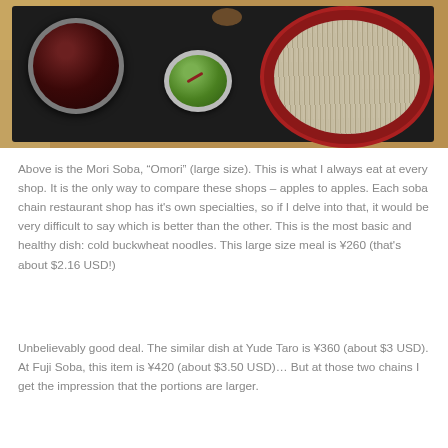[Figure (photo): Overhead view of Mori Soba Omori meal on a black tray: a bowl of dark dipping sauce on the left, a small bowl of wasabi in the center, and a red plate piled with cold buckwheat soba noodles on the right. A tan/wooden surface is visible in the top-left corner.]
Above is the Mori Soba, “Omori” (large size). This is what I always eat at every shop. It is the only way to compare these shops – apples to apples. Each soba chain restaurant shop has it's own specialties, so if I delve into that, it would be very difficult to say which is better than the other. This is the most basic and healthy dish: cold buckwheat noodles. This large size meal is ¥260 (that's about $2.16 USD!)
Unbelievably good deal. The similar dish at Yude Taro is ¥360 (about $3 USD). At Fuji Soba, this item is ¥420 (about $3.50 USD)… But at those two chains I get the impression that the portions are larger.